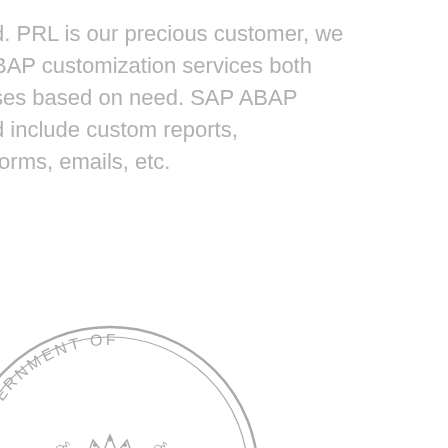d. PRL is our precious customer, we
BAP customization services both
ses based on need. SAP ABAP
d include custom reports,
forms, emails, etc.
[Figure (illustration): Government of Western Australia official seal/stamp, partially visible on the left side, showing a circular seal with text 'GOVERNMENT OF WESTERN AUSTRALIA' and the Western Australia coat of arms featuring a black swan flanked by kangaroo and emu supporters with a crown above]